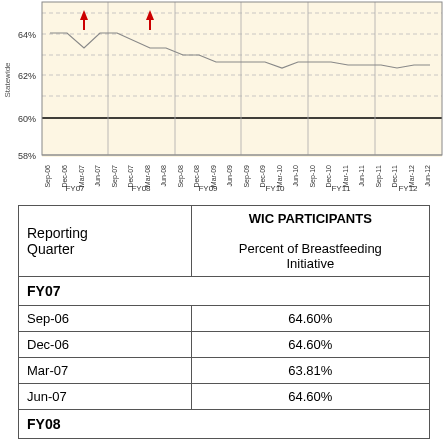[Figure (continuous-plot): Line chart showing Statewide WIC breastfeeding initiative percentages from FY07 to FY12. Y-axis ranges from 58% to ~65%+, with gridlines at 58%, 60%, 62%. X-axis shows quarterly labels (Sep-06, Dec-06, Mar-07, Jun-07, Sep-07, Dec-07, Mar-08, Jun-08, Sep-08, Dec-08, Mar-09, Jun-09, Sep-09, Dec-09, Mar-10, Jun-10, Sep-10, Dec-10, Mar-11, Jun-11, Sep-11, Dec-11, Mar-12, Jun-12) grouped by fiscal year. Red downward arrows mark Mar-07 and Mar-08.]
| Reporting Quarter | WIC PARTICIPANTS
Percent of Breastfeeding Initiative |
| --- | --- |
| FY07 |  |
| Sep-06 | 64.60% |
| Dec-06 | 64.60% |
| Mar-07 | 63.81% |
| Jun-07 | 64.60% |
| FY08 |  |